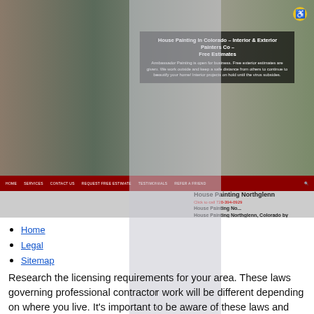[Figure (screenshot): Screenshot of Ambassador Painting website showing hero image of houses, navigation bar, and content about House Painting Northglenn]
Home
Legal
Sitemap
Research the licensing requirements for your area. These laws governing professional contractor work will be different depending on where you live. It's important to be aware of these laws and what they mean from the outset. Contact the